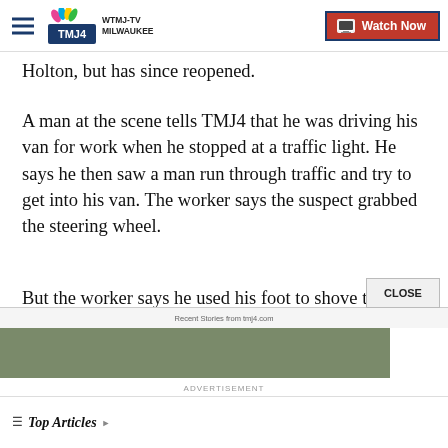WTMJ-TV MILWAUKEE | Watch Now
Holton, but has since reopened.
A man at the scene tells TMJ4 that he was driving his van for work when he stopped at a traffic light. He says he then saw a man run through traffic and try to get into his van. The worker says the suspect grabbed the steering wheel.
But the worker says he used his foot to shove the alleged carjacker from the vehicle.
Recent Stories from tmj4.com
ADVERTISEMENT
Top Articles